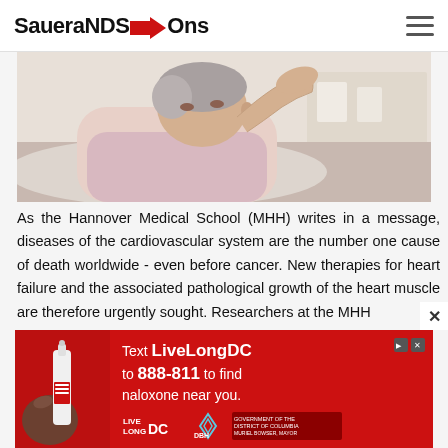SaueraNDS→Ons
[Figure (photo): Elderly woman lying in bed, resting her hand on her forehead, appearing unwell]
As the Hannover Medical School (MHH) writes in a message, diseases of the cardiovascular system are the number one cause of death worldwide - even before cancer. New therapies for heart failure and the associated pathological growth of the heart muscle are therefore urgently sought. Researchers at the MHH
[Figure (other): Advertisement banner: red background with naloxone nasal spray image. Text reads: Text LiveLongDC to 888-811 to find naloxone near you. LiveLong DC, DBH, Government of the District of Columbia, Muriel Bowser, Mayor.]